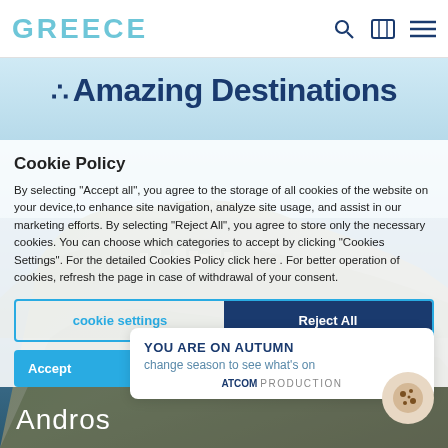GREECE
Amazing Destinations
Cookie Policy
By selecting "Accept all", you agree to the storage of all cookies of the website on your device,to enhance site navigation, analyze site usage, and assist in our marketing efforts. By selecting "Reject All", you agree to store only the necessary cookies. You can choose which categories to accept by clicking "Cookies Settings". For the detailed Cookies Policy click here . For better operation of cookies, refresh the page in case of withdrawal of your consent.
cookie settings
Reject All
Accept
YOU ARE ON AUTUMN
change season to see what's on
ATCOM PRODUCTION
[Figure (photo): Aerial photo of Andros island, Greece, showing a coastal town with white buildings on rocky terrain by the sea]
Andros